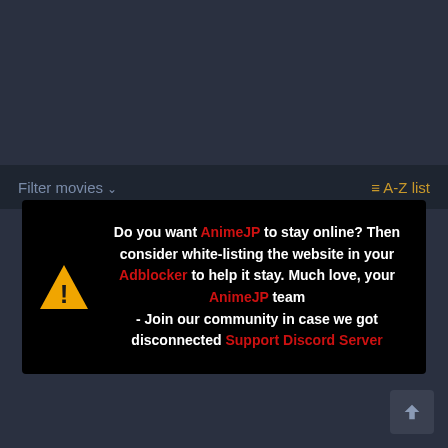Filter movies   A-Z list
[Figure (screenshot): Black notice box with warning triangle icon. Text reads: Do you want AnimeJP to stay online? Then consider white-listing the website in your Adblocker to help it stay. Much love, your AnimeJP team - Join our community in case we got disconnected Support Discord Server]